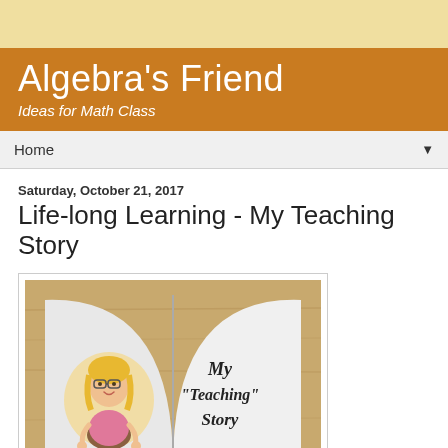Algebra's Friend — Ideas for Math Class
Life-long Learning - My Teaching Story
Saturday, October 21, 2017
[Figure (illustration): Open book on a wooden table surface. Left page shows a cartoon illustration of a woman with glasses and blonde hair wearing a pink shirt. Right page shows cursive handwritten text reading: My "Teaching" Story]
Continue reading...